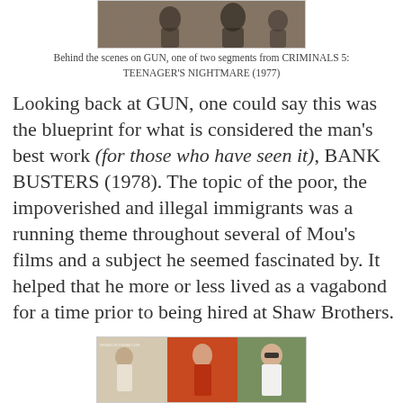[Figure (photo): Behind the scenes black and white photograph from GUN segment of CRIMINALS 5: TEENAGER'S NIGHTMARE (1977)]
Behind the scenes on GUN, one of two segments from CRIMINALS 5: TEENAGER'S NIGHTMARE (1977)
Looking back at GUN, one could say this was the blueprint for what is considered the man's best work (for those who have seen it), BANK BUSTERS (1978). The topic of the poor, the impoverished and illegal immigrants was a running theme throughout several of Mou's films and a subject he seemed fascinated by. It helped that he more or less lived as a vagabond for a time prior to being hired at Shaw Brothers.
[Figure (photo): Color photograph showing multiple people, possibly actors or film stills related to BANK BUSTERS (1978)]